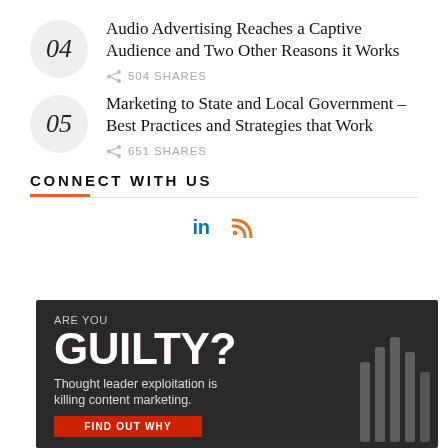04 Audio Advertising Reaches a Captive Audience and Two Other Reasons it Works — 504 SHARES
05 Marketing to State and Local Government – Best Practices and Strategies that Work — 651 SHARES
CONNECT WITH US
[Figure (infographic): Social media icons: LinkedIn (in) and RSS feed icon]
[Figure (infographic): Dark advertisement banner: ARE YOU GUILTY? Thought leader exploitation is killing content marketing. FIND OUT WHY button. Vertical bar graphic on right side.]